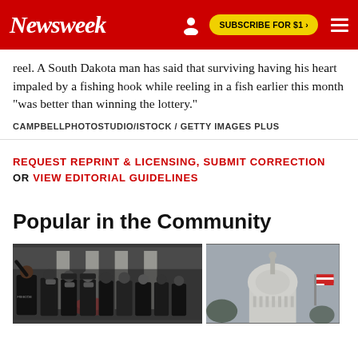Newsweek — SUBSCRIBE FOR $1
reel. A South Dakota man has said that surviving having his heart impaled by a fishing hook while reeling in a fish earlier this month "was better than winning the lottery."
CAMPBELLPHOTOSTUDIO/ISTOCK / GETTY IMAGES PLUS
REQUEST REPRINT & LICENSING, SUBMIT CORRECTION OR VIEW EDITORIAL GUIDELINES
Popular in the Community
[Figure (photo): Crowd of people wearing masks and dark clothing in front of a building with columns, one person raising a hand]
[Figure (photo): US Capitol dome with an American flag visible against a grey sky]